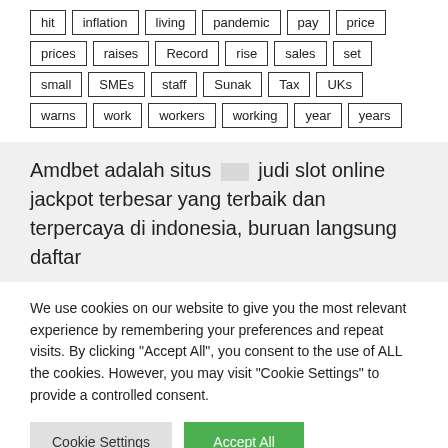hit inflation living pandemic pay price prices raises Record rise sales set small SMEs staff Sunak Tax UKs warns work workers working year years
Amdbet adalah situs   judi slot online jackpot terbesar yang terbaik dan terpercaya di indonesia, buruan langsung daftar
We use cookies on our website to give you the most relevant experience by remembering your preferences and repeat visits. By clicking "Accept All", you consent to the use of ALL the cookies. However, you may visit "Cookie Settings" to provide a controlled consent.